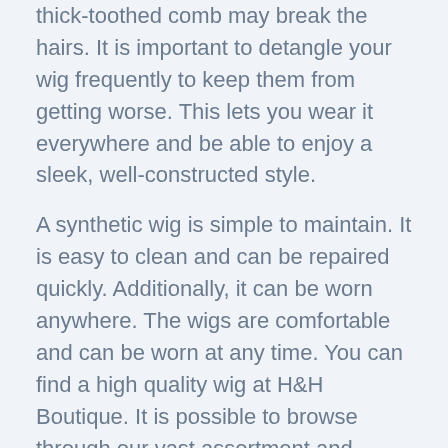thick-toothed comb may break the hairs. It is important to detangle your wig frequently to keep them from getting worse. This lets you wear it everywhere and be able to enjoy a sleek, well-constructed style.
A synthetic wig is simple to maintain. It is easy to clean and can be repaired quickly. Additionally, it can be worn anywhere. The wigs are comfortable and can be worn at any time. You can find a high quality wig at H&H Boutique. It is possible to browse through our vast assortment and determine which one will work best for you. After you've decided on your choice, you're now able to begin styling your new style.
Synthetic wigs can be an investment worth it. It's a lightweight, breathable material that will keep you cool in hot summer days. In addition, synthetic hair is heat and water resistant, which means you can keep it looking the way no matter